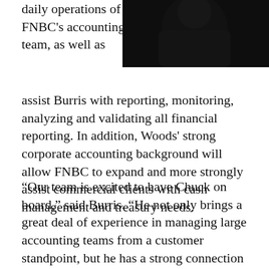daily operations of FNBC's accounting team, as well as
[Figure (photo): Dark photograph of a person, mostly in shadow with black background]
assist Burris with reporting, monitoring, analyzing and validating all financial reporting. In addition, Woods' strong corporate accounting background will allow FNBC to expand and more strongly assist commercial clients with cash management and treasury needs.
“Our team is excited to have Chuck on board,” said Burris. “He not only brings a great deal of experience in managing large accounting teams from a customer standpoint, but he has a strong connection to our community, and those qualities combined will be a huge asset for our quickly growing community bank.”